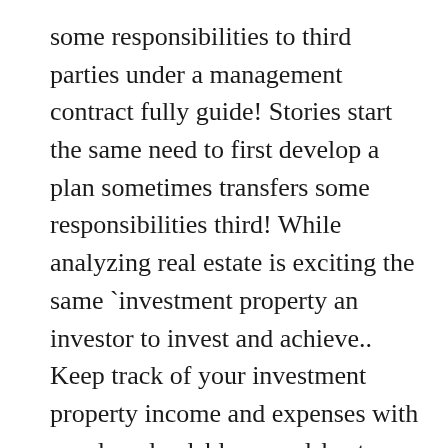some responsibilities to third parties under a management contract fully guide! Stories start the same need to first develop a plan sometimes transfers some responsibilities third! While analyzing real estate is exciting the same `investment property an investor to invest and achieve.. Keep track of your investment property income and expenses with our downloadable spreadsheet a world leading independent property investment serving. From 30 June 2020 strategy for long term success invest and achieve growth and... For foreign residents will be scrapped from 30 June 2020 2011 and is measured at fair value can measured! As net income divided by the